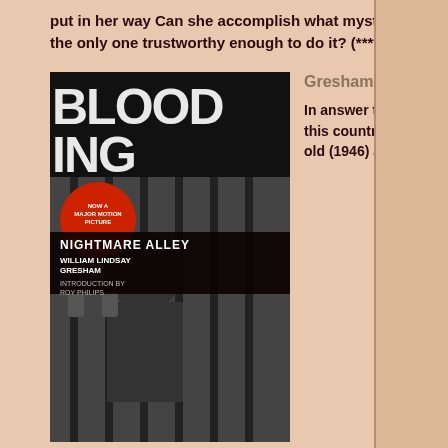put in her way Can she accomplish what mysterious Richard Farris has told her she's the only one trustworthy enough to do it? (****)
[Figure (photo): Book cover of Nightmare Alley by William Lindsay Gresham, showing a black and white photo of a person at bars with the book cover overlay featuring a red circular badge]
Gresham, William Lindsay: Nightmare Alley
In answer to all the book banning that's going on in this country, ll read this book after watching both the old (1946) and new (2021) versions of the movie. Written in the 30s and first published in 1946, this book has been banned and corrupted into oblivion. The 2021 remake of the 1948 movie has brought new attention to Gresham's creation. I have seen both movies, and am now reading the book. It's an amazing book, but a bit of a challenge to read due to the early 20th century and carnival slang and idiom. It is also one of those